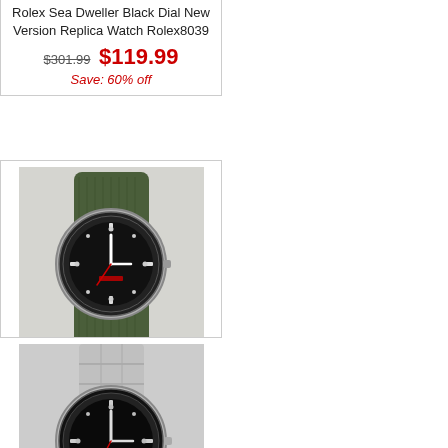Rolex Sea Dweller Black Dial New Version Replica Watch Rolex8039
$301.99  $119.99  Save: 60% off
[Figure (photo): Rolex Sea Dweller watch with green nylon strap and black dial]
Rolex Sea Dweller Green Nylon Strap Replica Watch Rolex5011
$301.99  $119.99  Save: 60% off
[Figure (photo): Rolex Sea Dweller watch with steel bracelet and black dial]
Rolex Sea Dweller Black Dial(Double Red Marking)-Vintage Edition Replica Watch Rolex8343